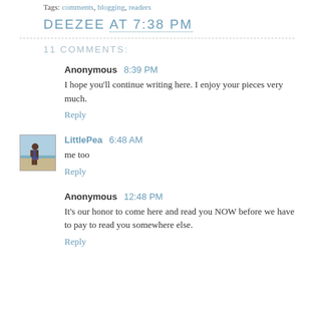Tags: comments, blogging, readers
DEEZEE AT 7:38 PM
11 COMMENTS:
Anonymous 8:39 PM
I hope you'll continue writing here. I enjoy your pieces very much.
Reply
LittlePea 6:48 AM
me too
Reply
Anonymous 12:48 PM
It's our honor to come here and read you NOW before we have to pay to read you somewhere else.
Reply